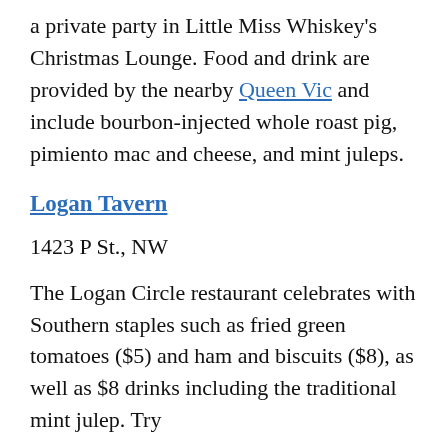a private party in Little Miss Whiskey's Christmas Lounge. Food and drink are provided by the nearby Queen Vic and include bourbon-injected whole roast pig, pimiento mac and cheese, and mint juleps.
Logan Tavern
1423 P St., NW
The Logan Circle restaurant celebrates with Southern staples such as fried green tomatoes ($5) and ham and biscuits ($8), as well as $8 drinks including the traditional mint julep. Try